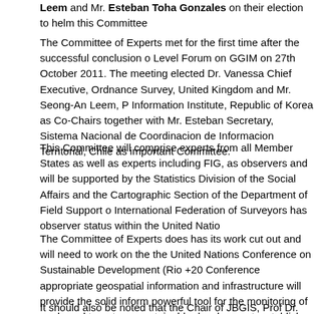Leem and Mr. Esteban Toha Gonzales on their election to helm this Committee
The Committee of Experts met for the first time after the successful conclusion of the High Level Forum on GGIM on 27th October 2011. The meeting elected Dr. Vanessa Lawrence, Chief Executive, Ordnance Survey, United Kingdom and Mr. Seong-An Leem, President, National Information Institute, Republic of Korea as Co-Chairs together with Mr. Esteban Toha Gonzales, Secretary, Sistema Nacional de Coordinacion de Informacion Territorial, Chile as Rapporteur of this important Committee.
This Committee will comprise experts from all Member States as well as experts from IGOs including FIG, as observers and will be supported by the Statistics Division of the Department of Social Affairs and the Cartographic Section of the Department of Field Support of the UN. The International Federation of Surveyors has observer status within the United Nations.
The Committee of Experts does has its work cut out and will need to work on the preparations for the United Nations Conference on Sustainable Development (Rio +20 Conference) to ensure that appropriate geospatial information and infrastructure will provide the solid information base and powerful tool for the monitoring of goals and targets on sustainable development. It will also need to establish an inventory of issues to be addressed by the Committee in future sessions and which will serve as a useful reference document on the scope and timeliness of the work of the Committee and also need to review the outcome of the inaugural session of the United Nations H
It should also be noted that the Chair of JBGIS, Prof Dr. William Cartwright, wa